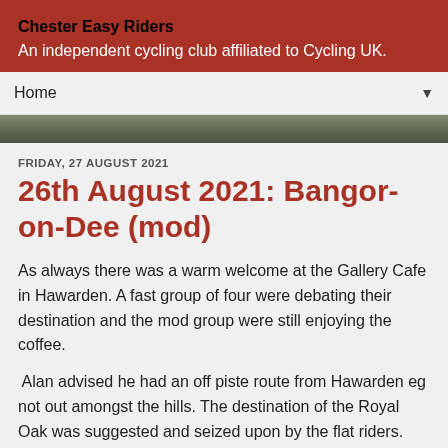Chester Easy Riders
An independent cycling club affiliated to Cycling UK.
Home ▼
FRIDAY, 27 AUGUST 2021
26th August 2021: Bangor-on-Dee (mod)
As always there was a warm welcome at the Gallery Cafe in Hawarden. A fast group of four were debating their destination and the mod group were still enjoying the coffee.
Alan advised he had an off piste route from Hawarden eg not out amongst the hills. The destination of the Royal Oak was suggested and seized upon by the flat riders.